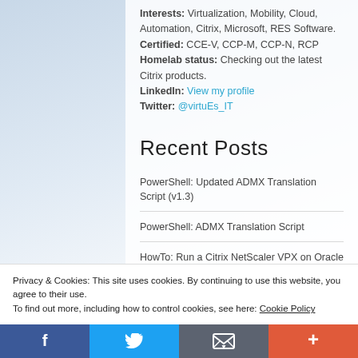Interests: Virtualization, Mobility, Cloud, Automation, Citrix, Microsoft, RES Software.
Certified: CCE-V, CCP-M, CCP-N, RCP
Homelab status: Checking out the latest Citrix products.
LinkedIn: View my profile
Twitter: @virtuEs_IT
Recent Posts
PowerShell: Updated ADMX Translation Script (v1.3)
PowerShell: ADMX Translation Script
HowTo: Run a Citrix NetScaler VPX on Oracle
Privacy & Cookies: This site uses cookies. By continuing to use this website, you agree to their use. To find out more, including how to control cookies, see here: Cookie Policy